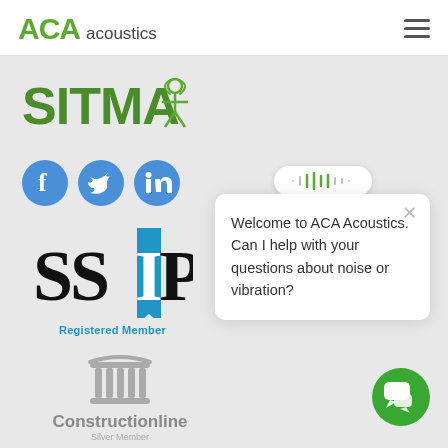ACA acoustics
[Figure (logo): SITMA logo in green text with a person/antenna icon]
[Figure (logo): Social media icons: Facebook, Twitter, LinkedIn blue circles]
[Figure (logo): SSIP logo with blue banner ribbon and 'Registered Member' text]
[Figure (illustration): Chat popup with audio waveform icon saying 'Welcome to ACA Acoustics. Can I help with your questions about noise or vibration?']
[Figure (logo): Constructionline Silver Member logo with grey column icon]
[Figure (logo): Green chat button icon in bottom right]